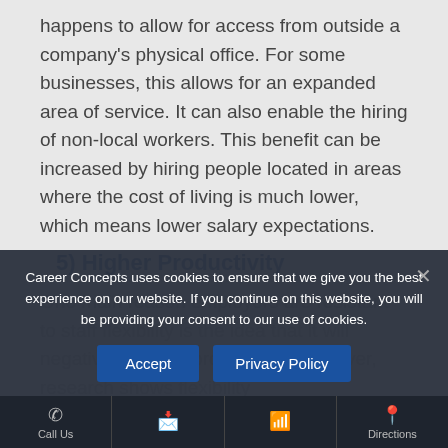happens to allow for access from outside a company's physical office. For some businesses, this allows for an expanded area of service. It can also enable the hiring of non-local workers. This benefit can be increased by hiring people located in areas where the cost of living is much lower, which means lower salary expectations.
5) Higher Productivity
One main reason employers are resistant to staff flexibility is the idea that it will negatively impact productivity. However, research shows flexibility
Career Concepts uses cookies to ensure that we give you the best experience on our website. If you continue on this website, you will be providing your consent to our use of cookies.